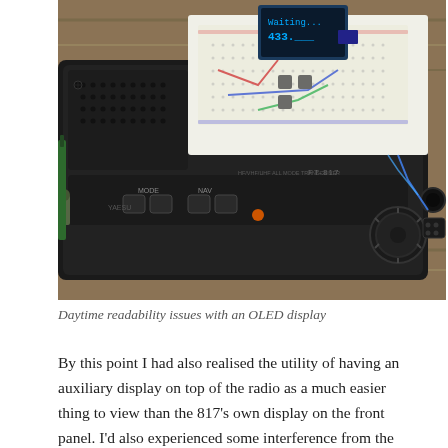[Figure (photo): A Yaesu FT-817 all-mode transceiver radio with a breadboard prototype sitting on top of it, featuring an OLED display showing '433...' and various electronic components. The radio has buttons labeled MODE, NAV, and shows the FT-817 branding. The setup is placed on a wooden surface outdoors. A green antenna or cable is visible on the left side.]
Daytime readability issues with an OLED display
By this point I had also realised the utility of having an auxiliary display on top of the radio as a much easier thing to view than the 817's own display on the front panel. I'd also experienced some interference from the unshielded prototype board coming through as clicking sounds on the radio's receiver so it looked as though some isolation